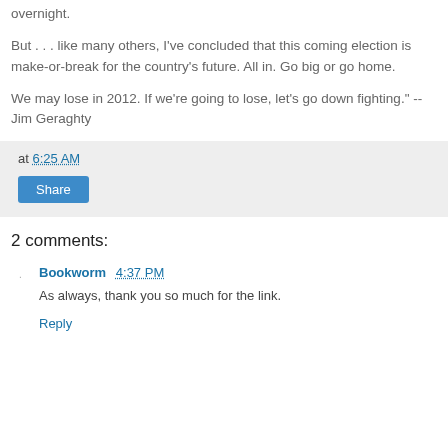overnight.
But . . . like many others, I've concluded that this coming election is make-or-break for the country's future. All in. Go big or go home.
We may lose in 2012. If we're going to lose, let's go down fighting." --Jim Geraghty
at 6:25 AM
Share
2 comments:
Bookworm 4:37 PM
As always, thank you so much for the link.
Reply